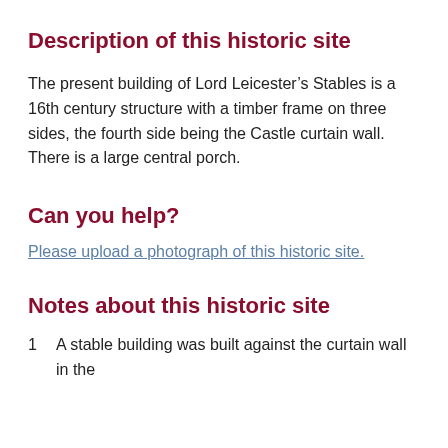Description of this historic site
The present building of Lord Leicester’s Stables is a 16th century structure with a timber frame on three sides, the fourth side being the Castle curtain wall. There is a large central porch.
Can you help?
Please upload a photograph of this historic site.
Notes about this historic site
1   A stable building was built against the curtain wall in the